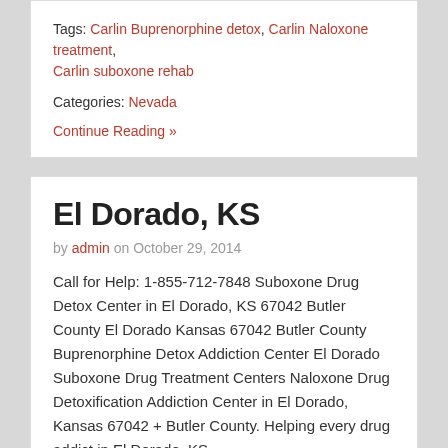Tags: Carlin Buprenorphine detox, Carlin Naloxone treatment, Carlin suboxone rehab
Categories: Nevada
Continue Reading »
El Dorado, KS
by admin on October 29, 2014
Call for Help: 1-855-712-7848 Suboxone Drug Detox Center in El Dorado, KS 67042 Butler County El Dorado Kansas 67042 Butler County Buprenorphine Detox Addiction Center El Dorado Suboxone Drug Treatment Centers Naloxone Drug Detoxification Addiction Center in El Dorado, Kansas 67042 + Butler County. Helping every drug addict in El Dorado, KS